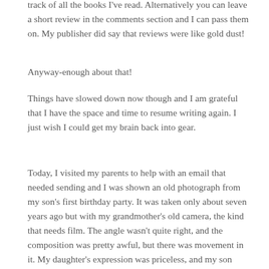track of all the books I've read. Alternatively you can leave a short review in the comments section and I can pass them on. My publisher did say that reviews were like gold dust!
Anyway-enough about that!
Things have slowed down now though and I am grateful that I have the space and time to resume writing again. I just wish I could get my brain back into gear.
Today, I visited my parents to help with an email that needed sending and I was shown an old photograph from my son's first birthday party. It was taken only about seven years ago but with my grandmother's old camera, the kind that needs film. The angle wasn't quite right, and the composition was pretty awful, but there was movement in it. My daughter's expression was priceless, and my son looked like he was going to climb right out of my arms. Like I said, it